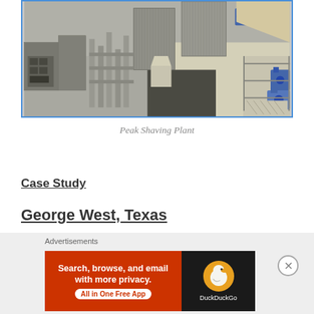[Figure (photo): Aerial/isometric view of an industrial peak shaving plant facility with large cylindrical tanks, cooling towers, pipes, and blue machinery components on a paved surface]
Peak Shaving Plant
Case Study
George West, Texas
Advertisements
[Figure (screenshot): DuckDuckGo advertisement banner: orange section with text 'Search, browse, and email with more privacy. All in One Free App' and dark section with DuckDuckGo duck logo]